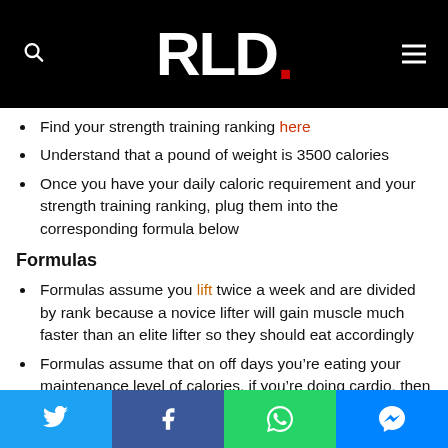RLD.
Find your strength training ranking here
Understand that a pound of weight is 3500 calories
Once you have your daily caloric requirement and your strength training ranking, plug them into the corresponding formula below
Formulas
Formulas assume you lift twice a week and are divided by rank because a novice lifter will gain muscle much faster than an elite lifter so they should eat accordingly
Formulas assume that on off days you’re eating your maintenance level of calories, if you’re doing cardio, then up your caloric intake accordingly
Social share buttons: Twitter, Facebook, WhatsApp, Messenger